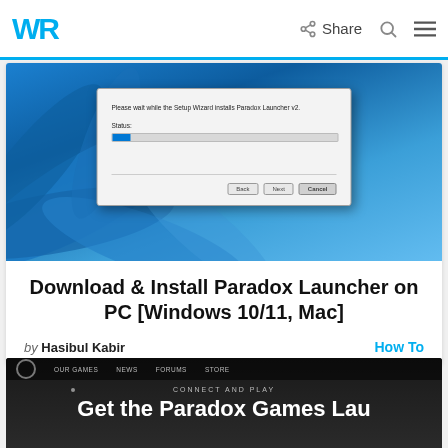WR | Share [search icon] [menu icon]
[Figure (screenshot): Screenshot of Windows 11 desktop with a Paradox Launcher setup/installation dialog box showing a progress bar and Status label, on a blue Windows 11 bloom wallpaper background.]
Download & Install Paradox Launcher on PC [Windows 10/11, Mac]
by Hasibul Kabir
How To
[Figure (screenshot): Dark themed screenshot showing Paradox Games Launcher website with navigation bar (OUR GAMES, etc.) and text reading 'CONNECT AND PLAY' and 'Get the Paradox Games Lau...' (truncated)]